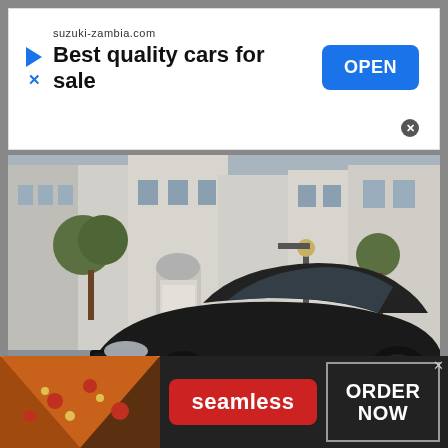[Figure (infographic): Top advertisement banner: suzuki-zambia.com, 'Best quality cars for sale', with blue OPEN button and play/close icons]
[Figure (photo): Black Porsche 918 Spyder supercar parked on a luxury shopping street with buildings and street lamps in background]
[Figure (infographic): Bottom advertisement banner: Seamless food delivery ad with pizza image on left, red Seamless pill button in center, and ORDER NOW button on right]